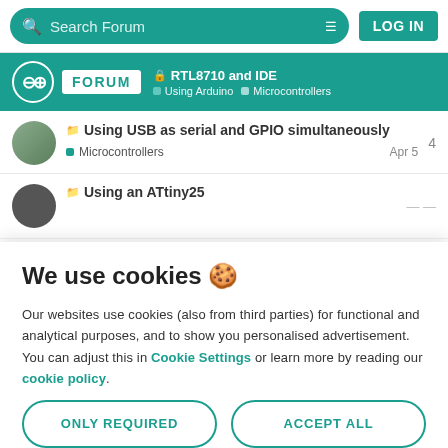Search Forum | LOG IN
RTL8710 and IDE | Using Arduino | Microcontrollers
Using USB as serial and GPIO simultaneously
Microcontrollers | Apr 5
Using an ATtiny25
We use cookies 🍪
Our websites use cookies (also from third parties) for functional and analytical purposes, and to show you personalised advertisement. You can adjust this in Cookie Settings or learn more by reading our cookie policy.
ONLY REQUIRED
ACCEPT ALL